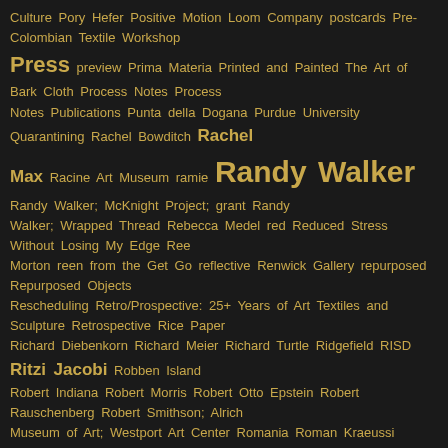Culture Pory Hefer Positive Motion Loom Company postcards Pre-Colombian Textile Workshop Press preview Prima Materia Printed and Painted The Art of Bark Cloth Process Notes Process Notes Publications Punta della Dogana Purdue University Quarantining Rachel Bowditch Rachel Max Racine Art Museum ramie Randy Walker Randy Walker; McKnight Project; grant Randy Walker; Wrapped Thread Rebecca Medel red Reduced Stress Without Losing My Edge Ree Morton reen from the Get Go reflective Renwick Gallery repurposed Repurposed Objects Rescheduling Retro/Prospective: 25+ Years of Art Textiles and Sculpture Retrospective Rice Paper Richard Diebenkorn Richard Meier Richard Turtle Ridgefield RISD Ritzi Jacobi Robben Island Robert Indiana Robert Morris Robert Otto Epstein Robert Rauschenberg Robert Smithson; Alrich Museum of Art; Westport Art Center Romania Roman Kraeussi Rooted Revived Reinvented: Basketry in America Rosemarie Trockel Rosemary Troeckel Rudy Autio Ruko Sudo Ruth Asawa Ruthin Craft Centre Ruth Kaufmann Ruth Lee Kao Ruth Malinowski Safety Pins safety pin sculpture Said Mahmoud Sail Cloth Salerno Salon Wall Salt Mills Sam Moyer Sandra and Lousi Grotta Foundation Sandra Grotta San Francisco San Jose Museum of Quilts and Textiles Sara Brennan Sara Brennan </strong>(UK) Sasha Stoyanov Sauvages Dyptch Saxe Collection Scandinavian Tapestry Scissors Scotland Scott Rothstein Scottsdale Scottsdale public art project Scrape the Willow Until It Sings sculpture Sculpture Sculpture; Chicago; Mileanium